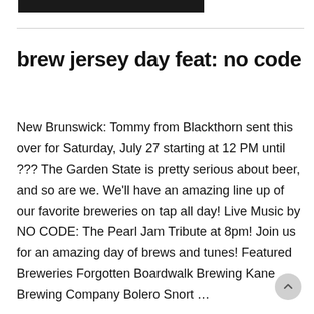[Figure (other): Dark/black rectangular image at the top of the page]
brew jersey day feat: no code
New Brunswick: Tommy from Blackthorn sent this over for Saturday, July 27 starting at 12 PM until ??? The Garden State is pretty serious about beer, and so are we. We'll have an amazing line up of our favorite breweries on tap all day! Live Music by NO CODE: The Pearl Jam Tribute at 8pm! Join us for an amazing day of brews and tunes! Featured Breweries Forgotten Boardwalk Brewing Kane Brewing Company Bolero Snort …